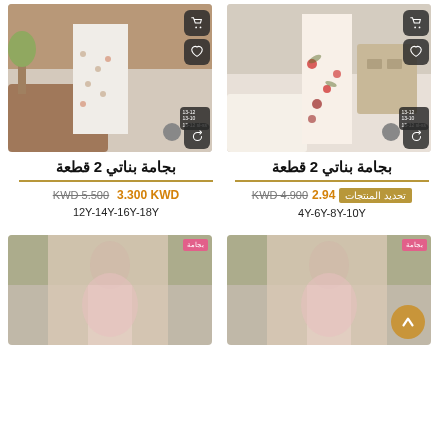[Figure (photo): Girl wearing patterned pajama pants (2-piece set), product listing image with cart and wishlist icons]
[Figure (photo): Girl wearing floral/print pajama set (2-piece), product listing image with cart and wishlist icons]
بجامة بناتي 2 قطعة
بجامة بناتي 2 قطعة
KWD 5.500  3.300 KWD
KWD 4.900  2.94... تحديد المنتجات
12Y-14Y-16Y-18Y
4Y-6Y-8Y-10Y
[Figure (photo): Bottom-left blurred product image of girl in pink outfit]
[Figure (photo): Bottom-right blurred product image of girl in pink outfit with scroll-to-top button]